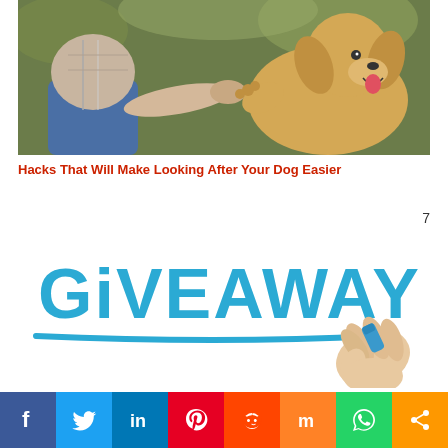[Figure (photo): Person kneeling and shaking paw with a golden retriever dog outdoors]
Hacks That Will Make Looking After Your Dog Easier
7
[Figure (photo): Hand holding a blue marker writing 'GiVEAWAY' in large blue letters with a blue underline stroke]
[Figure (infographic): Social media share bar with Facebook, Twitter, LinkedIn, Pinterest, Reddit, Mix, WhatsApp, and share icons]